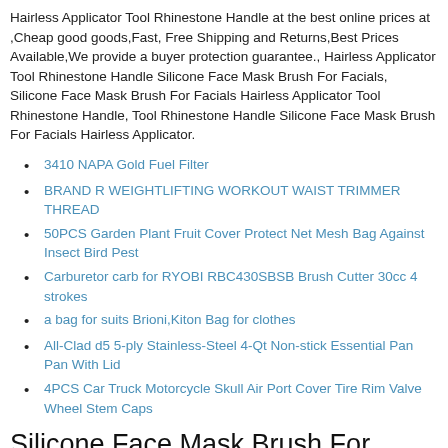Hairless Applicator Tool Rhinestone Handle at the best online prices at ,Cheap good goods,Fast, Free Shipping and Returns,Best Prices Available,We provide a buyer protection guarantee., Hairless Applicator Tool Rhinestone Handle Silicone Face Mask Brush For Facials, Silicone Face Mask Brush For Facials Hairless Applicator Tool Rhinestone Handle, Tool Rhinestone Handle Silicone Face Mask Brush For Facials Hairless Applicator.
3410 NAPA Gold Fuel Filter
BRAND R WEIGHTLIFTING WORKOUT WAIST TRIMMER THREAD
50PCS Garden Plant Fruit Cover Protect Net Mesh Bag Against Insect Bird Pest
Carburetor carb for RYOBI RBC430SBSB Brush Cutter 30cc 4 strokes
a bag for suits Brioni,Kiton Bag for clothes
All-Clad d5 5-ply Stainless-Steel 4-Qt Non-stick Essential Pan Pan With Lid
4PCS Car Truck Motorcycle Skull Air Port Cover Tire Rim Valve Wheel Stem Caps
Silicone Face Mask Brush For Facials